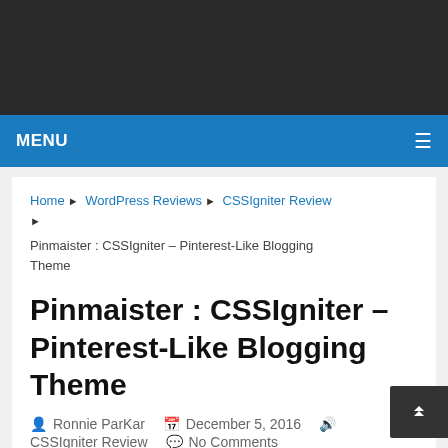MENU
Home ▶ WordPress Reviews ▶ CSSIgniter Review ▶ Pinmaister : CSSIgniter – Pinterest-Like Blogging Theme
Pinmaister : CSSIgniter – Pinterest-Like Blogging Theme
Ronnie ParKar   December 5, 2016   CSSIgniter Review   No Comments
Pinmaister is a premium WordPress blogging theme by CSSIgniter which has been inspired from